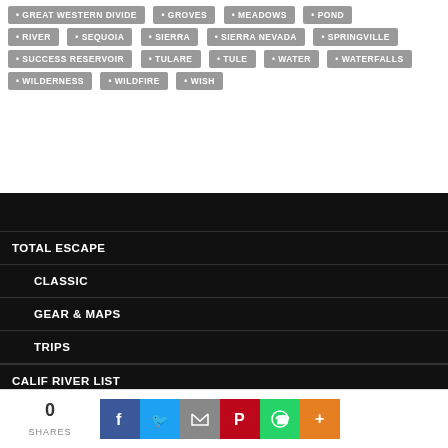GREAT WESTERN DIVIDE
GROVES
MEADOWS
POND
RIVER
SEQUOIA
SIERRA
SIERRA NEVADA
SPRINGVILLE
SUCCESS RESERVOIR
TULARE
TULE
WATER
WATERFALLS
WILDERNESS
WILDFIRE
WISH
TOTAL ESCAPE
CLASSIC
GEAR & MAPS
TRIPS
CALIF RIVER LIST
CALIFORNIA A-Z
0 SHARES